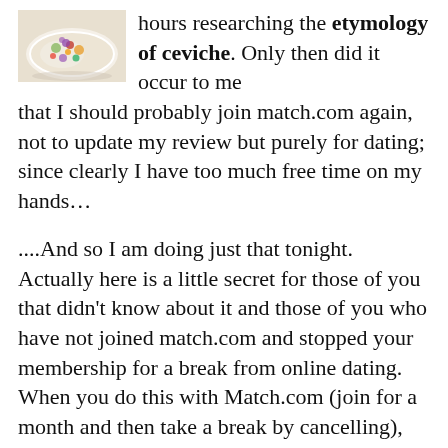[Figure (photo): A photograph of a dish of ceviche in a white bowl, viewed from above at an angle.]
hours researching the etymology of ceviche. Only then did it occur to me that I should probably join match.com again, not to update my review but purely for dating; since clearly I have too much free time on my hands…
....And so I am doing just that tonight. Actually here is a little secret for those of you that didn't know about it and those of you who have not joined match.com and stopped your membership for a break from online dating. When you do this with Match.com (join for a month and then take a break by cancelling), after you cancel they send you this sweet little offer where you can pay for 1 month and get 2 more free. If you are just getting started here is a free trial below. When you click the link though, look